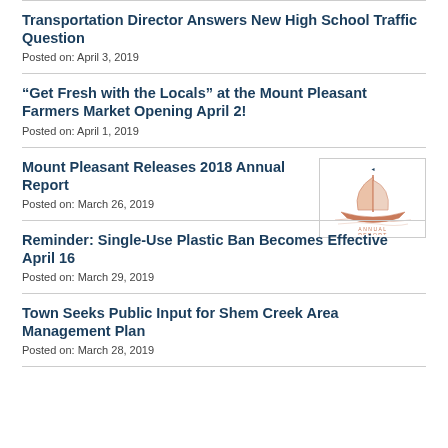Transportation Director Answers New High School Traffic Question
Posted on: April 3, 2019
“Get Fresh with the Locals” at the Mount Pleasant Farmers Market Opening April 2!
Posted on: April 1, 2019
Mount Pleasant Releases 2018 Annual Report
[Figure (illustration): Annual report cover showing a sailboat illustration with text ANNUAL REPORT]
Posted on: March 26, 2019
Reminder: Single-Use Plastic Ban Becomes Effective April 16
Posted on: March 29, 2019
Town Seeks Public Input for Shem Creek Area Management Plan
Posted on: March 28, 2019